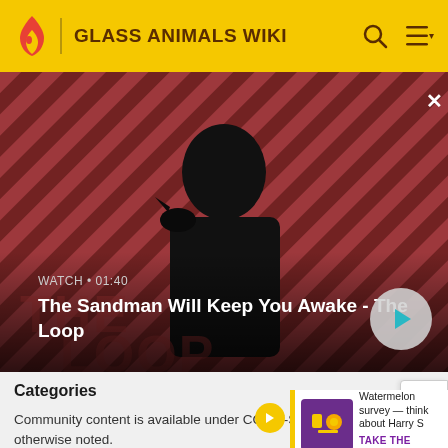GLASS ANIMALS WIKI
[Figure (screenshot): Video banner showing a dark-clad figure with a raven on shoulder against a red-and-black diagonal striped background. Text overlay: WATCH • 01:40, The Sandman Will Keep You Awake - The Loop. Play button visible.]
Categories
Community content is available under CC-BY-SA unless otherwise noted.
[Figure (infographic): Survey card: Watermelon survey - think about Harry S. TAKE THE SURVEY. With purple game-themed thumbnail.]